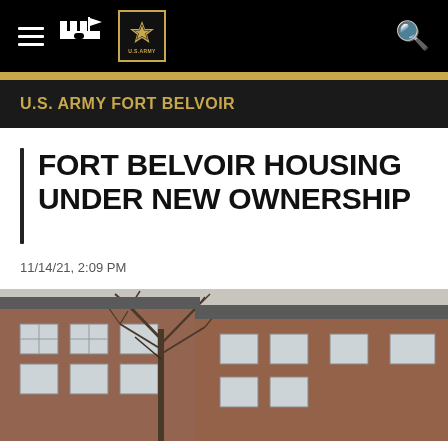U.S. Army Fort Belvoir — Navigation bar with hamburger menu, fort icon, US Army star badge, and search icon
U.S. ARMY FORT BELVOIR
FORT BELVOIR HOUSING UNDER NEW OWNERSHIP
11/14/21, 2:09 PM
[Figure (photo): Exterior photo of brick military housing buildings at Fort Belvoir with bare winter trees in the foreground against an overcast sky]